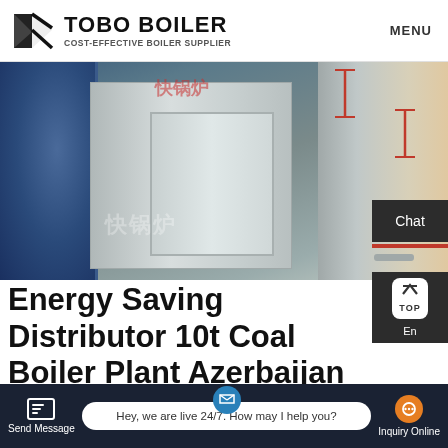TOBO BOILER COST-EFFECTIVE BOILER SUPPLIER | MENU
[Figure (photo): Industrial boiler equipment photo showing stainless steel boiler units in a facility, with a blue cylindrical tank on the left, metal cabinet-style boiler in center, and piping/tanks on the right. Chinese watermark text visible.]
Energy Saving Distributor 10t Coal Boiler Plant Azerbaijan
Energy Saving 4t Diesel Condensing Boiler Agent Azerbaijan. Industrial Best Selling 6t gas boiler Philippines.
Send Message | Hey, we are live 24/7. How may I help you? | Inquiry Online